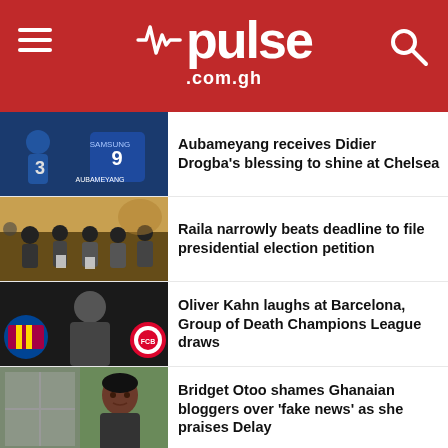[Figure (logo): Pulse .com.gh logo on red header bar with hamburger menu and search icon]
[Figure (photo): Aubameyang in Chelsea blue kit next to Didier Drogba Chelsea photo]
Aubameyang receives Didier Drogba's blessing to shine at Chelsea
[Figure (photo): Crowd of people at a political event, Raila filing presidential election petition]
Raila narrowly beats deadline to file presidential election petition
[Figure (photo): Oliver Kahn with Barcelona and Bayern Munich logos visible]
Oliver Kahn laughs at Barcelona, Group of Death Champions League draws
[Figure (photo): Bridget Otoo portrait photo]
Bridget Otoo shames Ghanaian bloggers over 'fake news' as she praises Delay